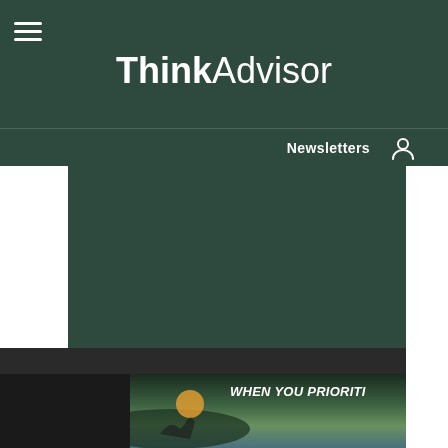ThinkAdvisor
Newsletters
[Figure (photo): Advertisement banner showing a person kayaking on water at sunset with text 'WHEN YOU PRIORITI...' on a dark background]
[Figure (screenshot): ThinkAdvisor website navigation screenshot with dark green header, hamburger menu, ThinkAdvisor logo, Newsletters link, user icon, and a large dark green content area with a partial ad banner at bottom]